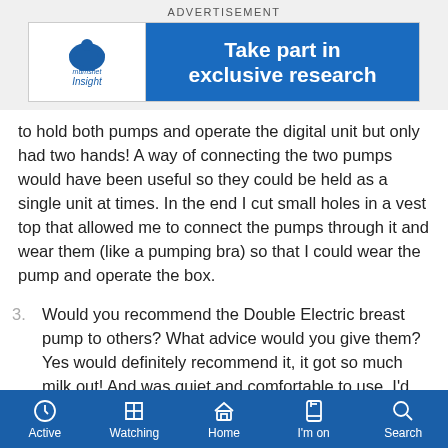ADVERTISEMENT
[Figure (illustration): Mumsnet Insight advertisement banner with logo on left and text 'Take part in exclusive research' on blue background on right]
to hold both pumps and operate the digital unit but only had two hands! A way of connecting the two pumps would have been useful so they could be held as a single unit at times. In the end I cut small holes in a vest top that allowed me to connect the pumps through it and wear them (like a pumping bra) so that I could wear the pump and operate the box.
3. Would you recommend the Double Electric breast pump to others? What advice would you give them? Yes would definitely recommend it, it got so much milk out! And was quiet and comfortable to use. I'd advise making sure you set aside a time to relax and pump-
Active  Watching  Home  I'm on  Search